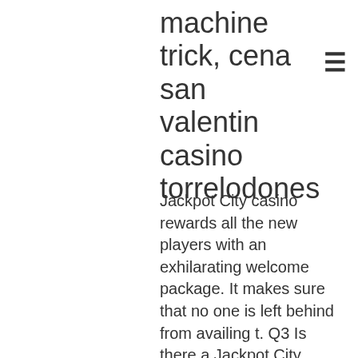machine trick, cena san valentin casino torrelodones
Jackpot City casino rewards all the new players with an exhilarating welcome package. It makes sure that no one is left behind from availing t. Q3 Is there a Jackpot City Casino No Deposit Bonus? Players can enjoy a number of bonuses once they sign up at Jackpot City casino. These include a number of deposit and no deposit bonuses, quatro casino no deposit bonus code. Das Schone an Demo GlucksSpiele ist die Moglichkeit, ganz ohne Risiko zu zocken, quatro casino no deposit bonus code. Play Croco Casino $20 No Deposit Bonus, prairie band casino poker. Find your popular &amp; best conquer online private server with conquertop100. Com,conquer online private servers. Cryptocurrencies of all shapes and